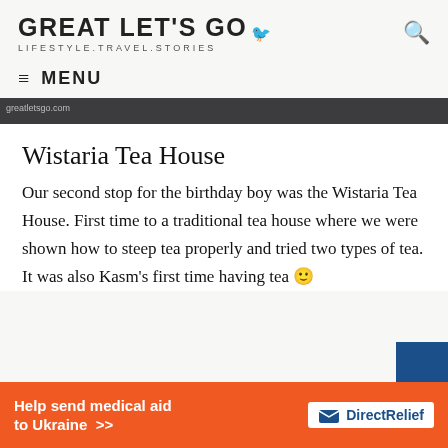GREAT LET'S GO — LIFESTYLE.TRAVEL.STORIES
≡ MENU
[Figure (photo): Dark header image with website watermark greatletsgo.com]
Wistaria Tea House
Our second stop for the birthday boy was the Wistaria Tea House. First time to a traditional tea house where we were shown how to steep tea properly and tried two types of tea. It was also Kasm's first time having tea 🙂
[Figure (infographic): Orange advertisement banner: Help send medical aid to Ukraine >> DirectRelief logo]